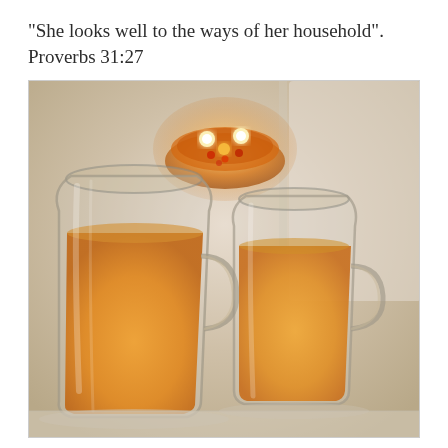“She looks well to the ways of her household”. Proverbs 31:27
[Figure (photo): Two glass mugs filled with warm orange-colored apple cider or tea, with a glowing candle bowl in the background, set on a light surface with a cozy warm atmosphere.]